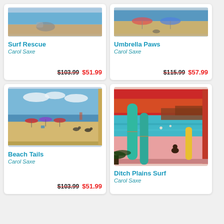[Figure (illustration): Surf Rescue painting by Carol Saxe - partially cropped at top]
Surf Rescue
Carol Saxe
$103.99  $51.99
[Figure (illustration): Umbrella Paws painting by Carol Saxe - partially cropped at top]
Umbrella Paws
Carol Saxe
$115.99  $57.99
[Figure (illustration): Beach Tails painting by Carol Saxe - beach scene with colorful umbrellas and dogs]
Beach Tails
Carol Saxe
$103.99  $51.99
[Figure (illustration): Ditch Plains Surf painting by Carol Saxe - surfboards on pink beach with red sky]
Ditch Plains Surf
Carol Saxe